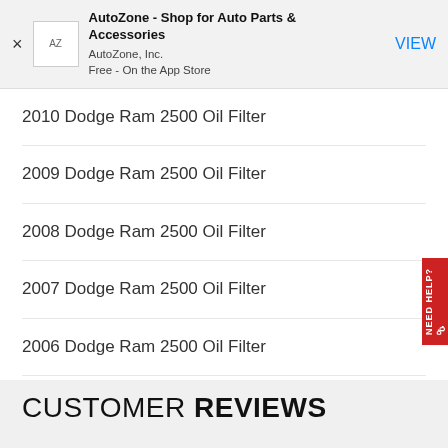[Figure (screenshot): AutoZone app store banner with close button (×), AZ logo icon, title 'AutoZone - Shop for Auto Parts & Accessories', subtitle 'AutoZone, Inc.' and 'Free - On the App Store', and a blue VIEW button]
2010 Dodge Ram 2500 Oil Filter
2009 Dodge Ram 2500 Oil Filter
2008 Dodge Ram 2500 Oil Filter
2007 Dodge Ram 2500 Oil Filter
2006 Dodge Ram 2500 Oil Filter
READ MORE ↓
CUSTOMER REVIEWS